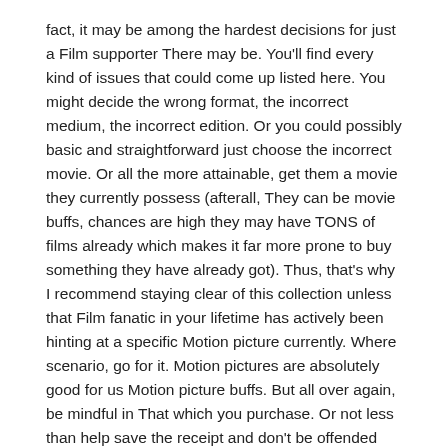fact, it may be among the hardest decisions for just a Film supporter There may be. You'll find every kind of issues that could come up listed here. You might decide the wrong format, the incorrect medium, the incorrect edition. Or you could possibly basic and straightforward just choose the incorrect movie. Or all the more attainable, get them a movie they currently possess (afterall, They can be movie buffs, chances are high they may have TONS of films already which makes it far more prone to buy something they have already got). Thus, that's why I recommend staying clear of this collection unless that Film fanatic in your lifetime has actively been hinting at a specific Motion picture currently. Where scenario, go for it. Motion pictures are absolutely good for us Motion picture buffs. But all over again, be mindful in That which you purchase. Or not less than help save the receipt and don't be offended when that individual has to return your present.
two. Netflix